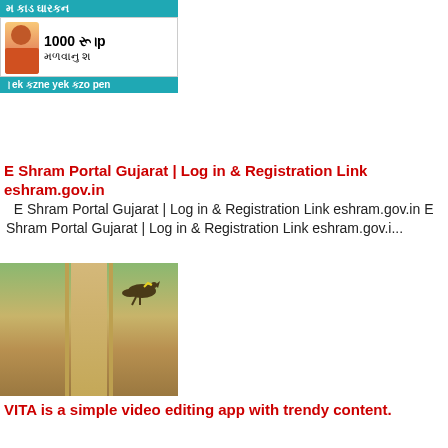[Figure (infographic): Advertisement banner in Gujarati script with teal header bar, person image, '1000 રૂ...' text and teal bottom bar]
E Shram Portal Gujarat | Log in & Registration Link eshram.gov.in
E Shram Portal Gujarat | Log in & Registration Link eshram.gov.in E Shram Portal Gujarat | Log in & Registration Link eshram.gov.i...
[Figure (photo): Photo of a bird and road/path in a naturalistic outdoor setting]
VITA is a simple video editing app with trendy content.
VITA is a simple video editing app with trendy content. VITA is a simple video editing app with trendy content. VITA is a simple & eas...
[Figure (photo): Cricket players with trophy, colorful promotional image]
Live Cricket Scores, Commentary, News and everything else related to Cricket India
Live Cricket Scores, Commentary, News and everything else related to Cricket India Live Cricket Scores, Commentary, News and everything el...